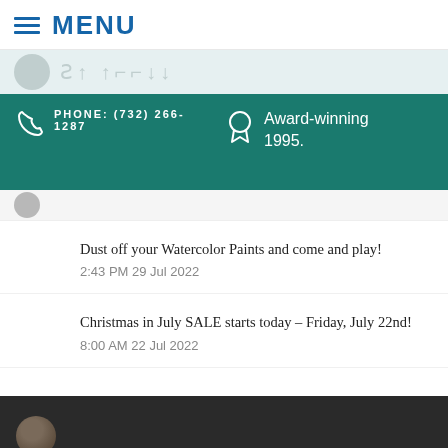≡ MENU
[Figure (photo): Profile avatar thumbnail with blurred name placeholder on light teal background]
PHONE: (732) 266-1287   Award-winning 1995.
[Figure (photo): Small profile thumbnail row on light grey background]
Dust off your Watercolor Paints and come and play!
2:43 PM 29 Jul 2022
Christmas in July SALE starts today – Friday, July 22nd!
8:00 AM 22 Jul 2022
[Figure (photo): Dark footer area with partial profile avatar visible at bottom]